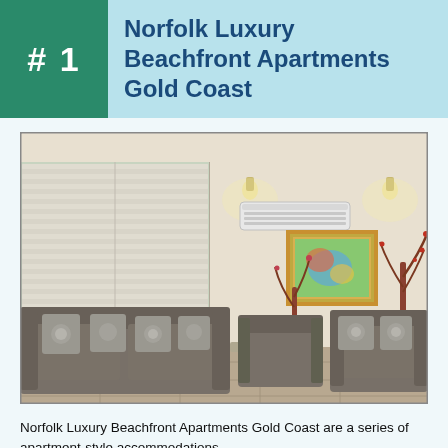# 1 Norfolk Luxury Beachfront Apartments Gold Coast
[Figure (photo): Interior living room of Norfolk Luxury Beachfront Apartments Gold Coast, showing two grey sofas with patterned cushions, shuttered windows, wall-mounted air conditioning unit, a framed colorful artwork on the wall, and red decorative vases with dried plants.]
Norfolk Luxury Beachfront Apartments Gold Coast are a series of apartment-style accommodations